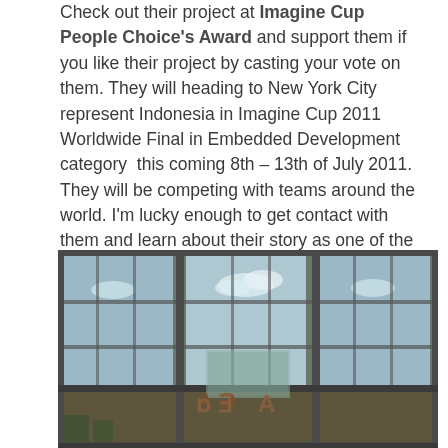Check out their project at Imagine Cup People Choice's Award and support them if you like their project by casting your vote on them. They will heading to New York City represent Indonesia in Imagine Cup 2011 Worldwide Final in Embedded Development category  this coming 8th – 13th of July 2011. They will be competing with teams around the world. I'm lucky enough to get contact with them and learn about their story as one of the Microsoft Student Partner (MSP) Social Media Team.
[Figure (photo): Exterior glass facade of a building showing large windows with steel frames, reflecting sky and clouds. Large mirrored letters visible inside reading 'AGDA'.]